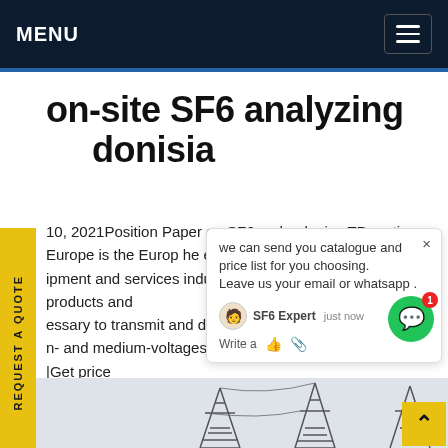MENU
on-site SF6 analyzing 
donisia
10, 2021Position Paper on SF6 an ative hnologies TD Europe is the Europ ti he electricity transmission and d ipment and services industry s des complete range of products and essary to transmit and distribute electricity in n- and medium-voltages, between the producers |Get price
we can send you catalogue and price list for you choosing. Leave us your email or whatsapp .
SF6 Expert  just now
Write a
[Figure (photo): Power transmission towers/pylons against a light grey sky, viewed from below]